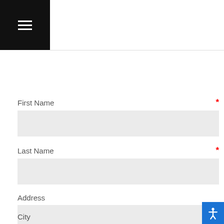[Figure (other): Black square header with white hamburger menu icon (three horizontal lines)]
First Name *
Last Name *
Address
City